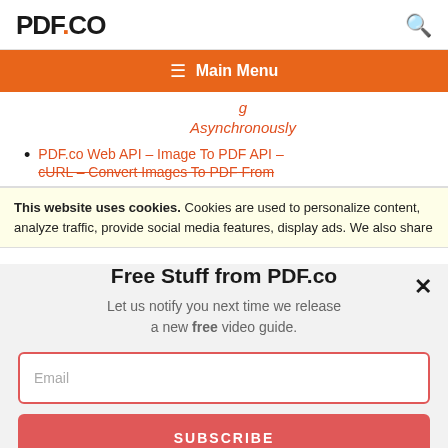PDF.CO
[Figure (screenshot): PDF.co website header with logo and search icon, orange main menu nav bar, partial list of links in red, cookie consent banner, and a modal popup titled Free Stuff from PDF.co with email subscription form]
Asynchronously
PDF.co Web API – Image To PDF API – cURL – Convert Images To PDF From
This website uses cookies. Cookies are used to personalize content, analyze traffic, provide social media features, display ads. We also share
Free Stuff from PDF.co
Let us notify you next time we release a new free video guide.
Email
SUBSCRIBE